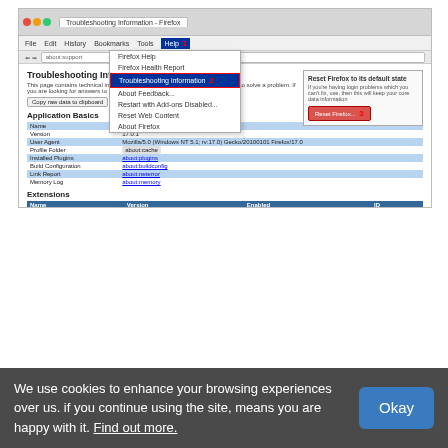[Figure (screenshot): Firefox Troubleshooting Information browser page screenshot showing Help menu open with 'Troubleshooting Information' highlighted, numbered callouts 1, 2, 3, Application Basics table, Extensions section, Important Modified Preferences section, and Reset Firefox button.]
Internet Explorer
Simply, open the browser and click thee Gear Icon on the upper right corner.
Navigate to Internet options and click it.
Now, navigate to Toolbars and Extensions, to see the list
We use cookies to enhance your browsing experiences over us. if you continue using the site, means you are happy with it. Find out more.